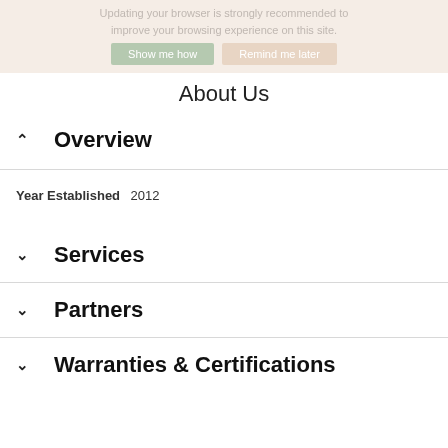Updating your browser is strongly recommended to improve your browsing experience on this site. Show me how   Remind me later
About Us
Overview
Year Established  2012
Services
Partners
Warranties & Certifications